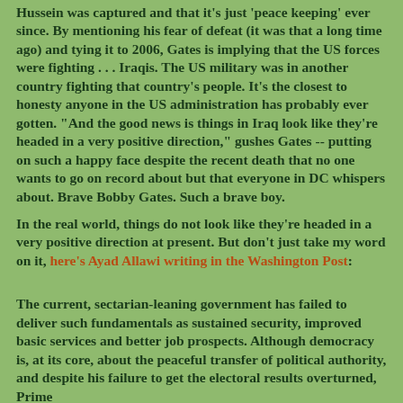Hussein was captured and that it's just 'peace keeping' ever since. By mentioning his fear of defeat (it was that a long time ago) and tying it to 2006, Gates is implying that the US forces were fighting . . . Iraqis. The US military was in another country fighting that country's people. It's the closest to honesty anyone in the US administration has probably ever gotten. "And the good news is things in Iraq look like they're headed in a very positive direction," gushes Gates -- putting on such a happy face despite the recent death that no one wants to go on record about but that everyone in DC whispers about. Brave Bobby Gates. Such a brave boy.
In the real world, things do not look like they're headed in a very positive direction at present. But don't just take my word on it, here's Ayad Allawi writing in the Washington Post:
The current, sectarian-leaning government has failed to deliver such fundamentals as sustained security, improved basic services and better job prospects. Although democracy is, at its core, about the peaceful transfer of political authority, and despite his failure to get the electoral results overturned, Prime